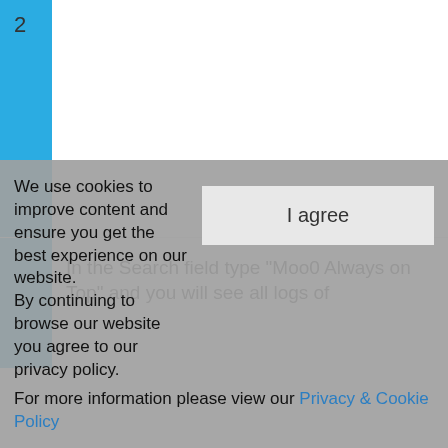2
In the Search field type "Moo0 Always on Top" and you will see all logs of
We use cookies to improve content and ensure you get the best experience on our website. By continuing to browse our website you agree to our privacy policy. For more information please view our Privacy & Cookie Policy